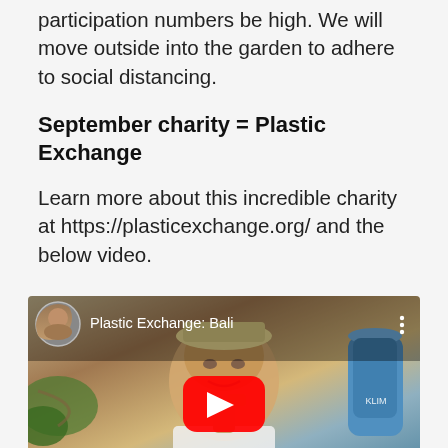participation numbers be high. We will move outside into the garden to adhere to social distancing.
September charity = Plastic Exchange
Learn more about this incredible charity at https://plasticexchange.org/ and the below video.
[Figure (screenshot): YouTube video thumbnail showing an elderly person with text 'Plastic Exchange: Bali' and a red play button overlay]